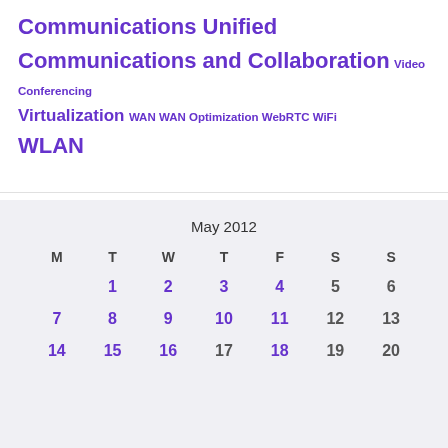Communications Unified Communications and Collaboration Video Conferencing Virtualization WAN WAN Optimization WebRTC WiFi WLAN
| M | T | W | T | F | S | S |
| --- | --- | --- | --- | --- | --- | --- |
|  | 1 | 2 | 3 | 4 | 5 | 6 |
| 7 | 8 | 9 | 10 | 11 | 12 | 13 |
| 14 | 15 | 16 | 17 | 18 | 19 | 20 |